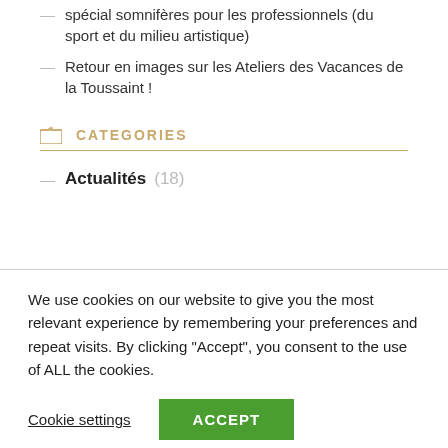... spécial somnifères pour les professionnels (du sport et du milieu artistique)
Retour en images sur les Ateliers des Vacances de la Toussaint !
CATEGORIES
Actualités (18)
We use cookies on our website to give you the most relevant experience by remembering your preferences and repeat visits. By clicking "Accept", you consent to the use of ALL the cookies.
Cookie settings    ACCEPT